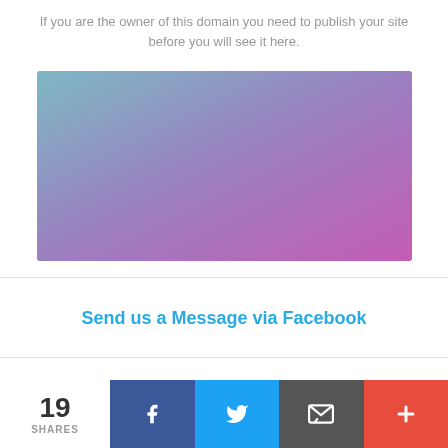If you are the owner of this domain you need to publish your site before you will see it here.
[Figure (illustration): A rectangular image with a smooth gradient transitioning from teal/blue-gray at the top-left to purple/violet at the top-right, and transitioning to a brighter magenta/purple at the bottom.]
Send us a Message via Facebook
19 SHARES
[Figure (infographic): Social share bar with Facebook (dark blue), Twitter (light blue), Email (gray), and More (+) (red-orange) buttons, plus a share count of 19.]